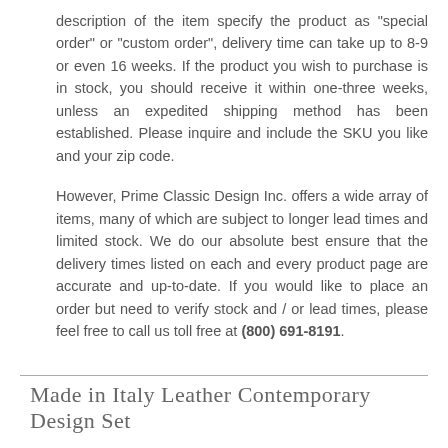description of the item specify the product as "special order" or "custom order", delivery time can take up to 8-9 or even 16 weeks. If the product you wish to purchase is in stock, you should receive it within one-three weeks, unless an expedited shipping method has been established. Please inquire and include the SKU you like and your zip code.
However, Prime Classic Design Inc. offers a wide array of items, many of which are subject to longer lead times and limited stock. We do our absolute best ensure that the delivery times listed on each and every product page are accurate and up-to-date. If you would like to place an order but need to verify stock and / or lead times, please feel free to call us toll free at (800) 691-8191.
Made in Italy Leather Contemporary Design Set